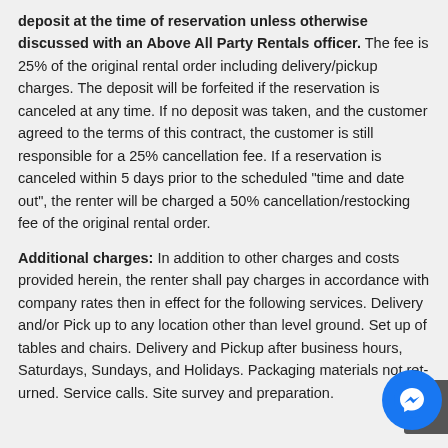deposit at the time of reservation unless otherwise discussed with an Above All Party Rentals officer. The fee is 25% of the original rental order including delivery/pickup charges. The deposit will be forfeited if the reservation is canceled at any time. If no deposit was taken, and the customer agreed to the terms of this contract, the customer is still responsible for a 25% cancellation fee. If a reservation is canceled within 5 days prior to the scheduled "time and date out", the renter will be charged a 50% cancellation/restocking fee of the original rental order.
Additional charges: In addition to other charges and costs provided herein, the renter shall pay charges in accordance with company rates then in effect for the following services. Delivery and/or Pick up to any location other than level ground. Set up of tables and chairs. Delivery and Pickup after business hours, Saturdays, Sundays, and Holidays. Packaging materials not returned. Service calls. Site survey and preparation.